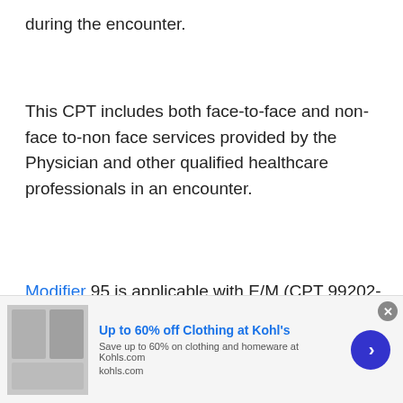during the encounter.
This CPT includes both face-to-face and non-face to-non face services provided by the Physician and other qualified healthcare professionals in an encounter.
Modifier 95 is applicable with E/M (CPT 99202-99215) to report telehealth
[Figure (screenshot): Advertisement banner: Up to 60% off Clothing at Kohl's. Save up to 60% on clothing and homeware at Kohls.com. kohls.com. Shows a blue circular arrow button and a photo of two people.]